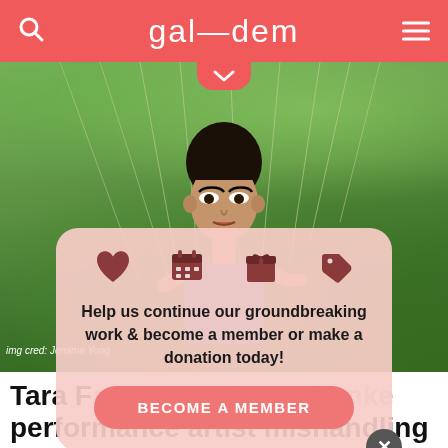gal—dem
[Figure (photo): A performance artist with dark hair and dramatic eye makeup, wearing a blue top, holding strings or wires against a lush green foliage background]
img cred: Jemima Yong
Help us continue our groundbreaking work & become a member or make a donation today!
BECOME A MEMBER
Tara F[aten it am i s ne franke] performance artist mishandling